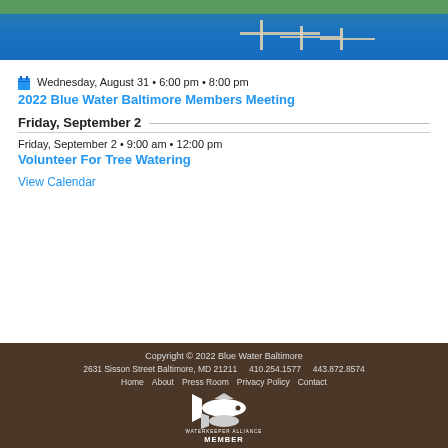[Figure (photo): Aerial photo of a marina/dock area with water and green grass]
Wednesday, August 31 • 6:00 pm • 8:00 pm
2022 Blue Water Baltimore Members Meeting
Friday, September 2
Friday, September 2 • 9:00 am • 12:00 pm
Volunteer For Tree Watering
View Calendar
Copyright © 2022 Blue Water Baltimore
2631 Sisson Street Baltimore, MD 21211    410.254.1577    443.872.8574
Home   About   Press Room   Privacy Policy   Contact
WATERKEEPER ALLIANCE MEMBER